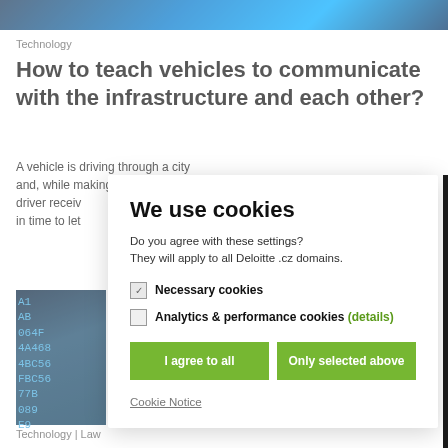[Figure (photo): Blue circuit board / technology hero image banner at top of page]
Technology
How to teach vehicles to communicate with the infrastructure and each other?
A vehicle is driving through a city and, while making a left turn, the driver receiv… in time to let
[Figure (photo): Dark blue background with hexadecimal code characters (A1, AB, 064F, 4A468, 4BC56, FBC56, 77B, 089, E9) in cyan/teal color]
Technology | Law
We use cookies
Do you agree with these settings?
They will apply to all Deloitte .cz domains.
Necessary cookies
Analytics & performance cookies (details)
I agree to all
Only selected above
Cookie Notice